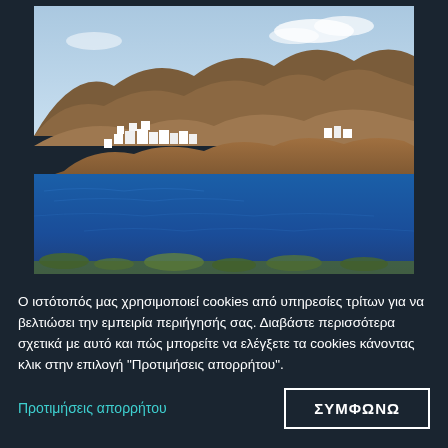[Figure (photo): Aerial coastal view of a Greek island (likely Naxos) with white cubic buildings on rocky cliffs above deep blue sea water, brown arid mountains in the background under a partly cloudy sky.]
Ο ιστότοπός μας χρησιμοποιεί cookies από υπηρεσίες τρίτων για να βελτιώσει την εμπειρία περιήγησής σας. Διαβάστε περισσότερα σχετικά με αυτό και πώς μπορείτε να ελέγξετε τα cookies κάνοντας κλικ στην επιλογή "Προτιμήσεις απορρήτου".
Προτιμήσεις απορρήτου
ΣΥΜΦΩΝΩ